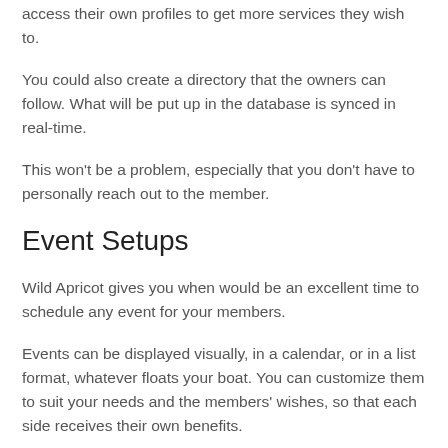access their own profiles to get more services they wish to.
You could also create a directory that the owners can follow. What will be put up in the database is synced in real-time.
This won’t be a problem, especially that you don’t have to personally reach out to the member.
Event Setups
Wild Apricot gives you when would be an excellent time to schedule any event for your members.
Events can be displayed visually, in a calendar, or in a list format, whatever floats your boat. You can customize them to suit your needs and the members’ wishes, so that each side receives their own benefits.
To make it more appealing, you could offer additional perks.